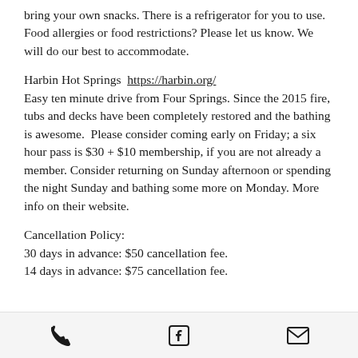bring your own snacks. There is a refrigerator for you to use.
Food allergies or food restrictions? Please let us know. We will do our best to accommodate.
Harbin Hot Springs  https://harbin.org/
Easy ten minute drive from Four Springs. Since the 2015 fire, tubs and decks have been completely restored and the bathing is awesome.  Please consider coming early on Friday; a six hour pass is $30 + $10 membership, if you are not already a member. Consider returning on Sunday afternoon or spending the night Sunday and bathing some more on Monday. More info on their website.
Cancellation Policy:
30 days in advance: $50 cancellation fee.
14 days in advance: $75 cancellation fee.
[phone icon] [facebook icon] [email icon]